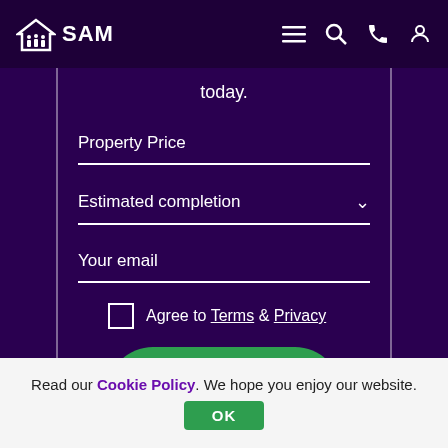SAM — header with logo, menu, search, phone, account icons
today.
Property Price
Estimated completion
Your email
Agree to Terms & Privacy
Get a Conveyancing Quote
See our 492 reviews on Trustpilot
Read our Cookie Policy. We hope you enjoy our website.
OK